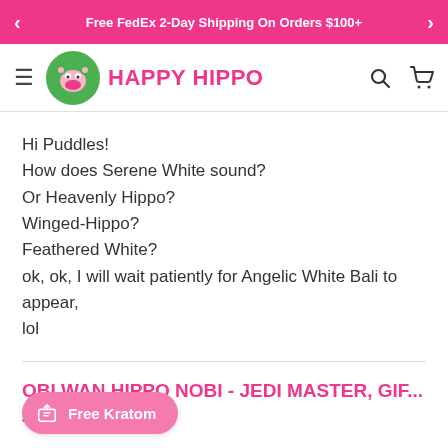Free FedEx 2-Day Shipping On Orders $100+
[Figure (logo): Happy Hippo logo with hippo mascot and brand name in pink]
Hi Puddles!
How does Serene White sound?
Or Heavenly Hippo?
Winged-Hippo?
Feathered White?
ok, ok, I will wait patiently for Angelic White Bali to appear, lol
OBI WAN HIPPO NOBI - JEDI MASTER, GIF...
J
Free Kratom